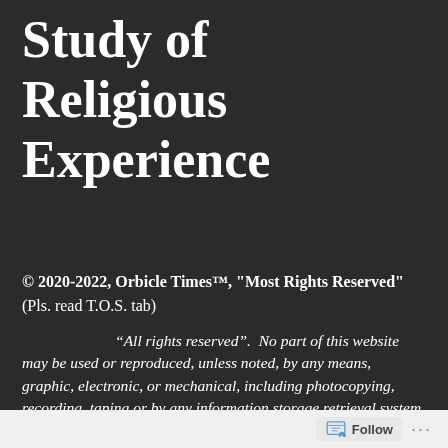Study of Religious Experience
© 2020-2022, Orbicle Times™, "Most Rights Reserved" (Pls. read T.O.S. tab)
“All rights reserved”.  No part of this website may be used or reproduced, unless noted, by any means, graphic, electronic, or mechanical, including photocopying, recording, taping or by any information storage retrieval system without the written permission of the author except in the case of brief quotations embodied in critical articles and reviews and interviews.  Unless otherwise noted, the
Follow